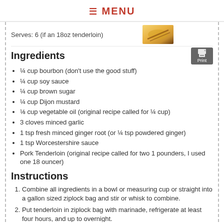≡ MENU
Serves: 6 (if an 18oz tenderloin)
Ingredients
¼ cup bourbon (don't use the good stuff)
¼ cup soy sauce
¼ cup brown sugar
¼ cup Dijon mustard
⅛ cup vegetable oil (original recipe called for ¼ cup)
3 cloves minced garlic
1 tsp fresh minced ginger root (or ¼ tsp powdered ginger)
1 tsp Worcestershire sauce
Pork Tenderloin (original recipe called for two 1 pounders, I used one 18 ouncer)
Instructions
Combine all ingredients in a bowl or measuring cup or straight into a gallon sized ziplock bag and stir or whisk to combine.
Put tenderloin in ziplock bag with marinade, refrigerate at least four hours, and up to overnight.
Pour marinade into pan, and boil for at least two minutes, to kill any raw meat ickiness floating around in there. Continue to simmer to reduce to a saucy consistency.
Place tenderloin on hot grill for 15-25 minutes, rotating to cook all sides equally, and basting the cooked parts with the boiled/sterilized marinade.
If you have a meat thermometer, cook to 165 degrees, but you can...